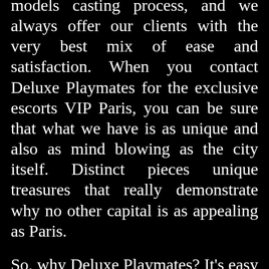models casting process, and we always offer our clients with the very best mix of ease and satisfaction. When you contact Deluxe Playmates for the exclusive escorts VIP Paris, you can be sure that what we have is as unique and also as mind blowing as the city itself. Distinct pieces unique treasures that really demonstrate why no other capital is as appealing as Paris.
So, why Deluxe Playmates? It's easy we're the best! You will definitely never find an escort agency in Paris that supplies the